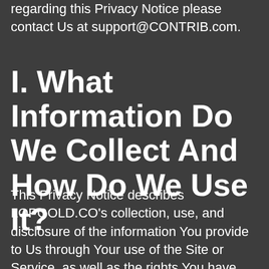regarding this Privacy Notice please contact Us at support@CONTRIB.com.
I. What Information Do We Collect And How Do We Use It?
This Privacy Notice describes LOPGOLD.CO's collection, use, and disclosure of the information You provide to Us through Your use of the Site or Service, as well as the rights You have with respect to Your Personal Data. For any questions regarding this Privacy Notice please